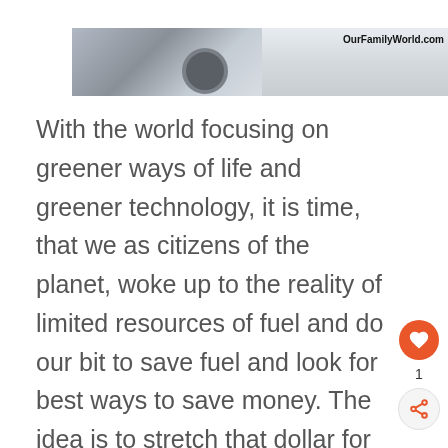[Figure (photo): Photograph of a car in snow with OurFamilyWorld.com watermark]
With the world focusing on greener ways of life and greener technology, it is time, that we as citizens of the planet, woke up to the reality of limited resources of fuel and do our bit to save fuel and look for best ways to save money. The idea is to stretch that dollar for an extra mile and make